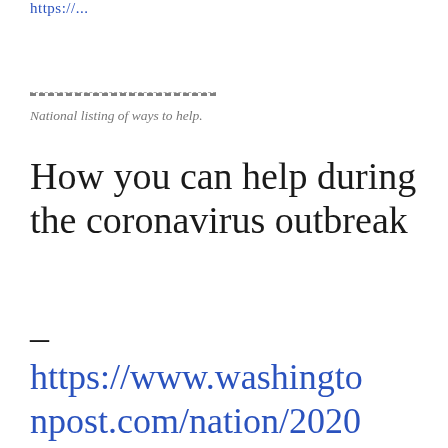https://...
National listing of ways to help.
How you can help during the coronavirus outbreak –
https://www.washingtonpost.com/nation/2020/03/21/how-you-can-